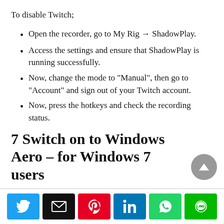To disable Twitch;
Open the recorder, go to My Rig → ShadowPlay.
Access the settings and ensure that ShadowPlay is running successfully.
Now, change the mode to “Manual”, then go to “Account” and sign out of your Twitch account.
Now, press the hotkeys and check the recording status.
7 Switch on to Windows Aero – for Windows 7 users